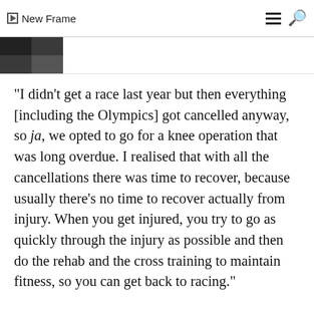New Frame
[Figure (screenshot): Thumbnail image strip with a dark photo on the left and white content area on the right]
“I didn’t get a race last year but then everything [including the Olympics] got cancelled anyway, so ja, we opted to go for a knee operation that was long overdue. I realised that with all the cancellations there was time to recover, because usually there’s no time to recover actually from injury. When you get injured, you try to go as quickly through the injury as possible and then do the rehab and the cross training to maintain fitness, so you can get back to racing.”